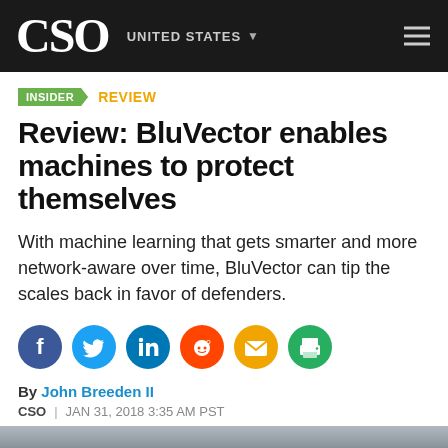CSO  UNITED STATES
INSIDER  REVIEW
Review: BluVector enables machines to protect themselves
With machine learning that gets smarter and more network-aware over time, BluVector can tip the scales back in favor of defenders.
[Figure (infographic): Row of social sharing icons: Facebook (blue), Twitter (blue), LinkedIn (blue), Reddit (red-orange), Email (yellow), Print (green)]
By John Breeden II
CSO | JAN 31, 2018 3:35 AM PST